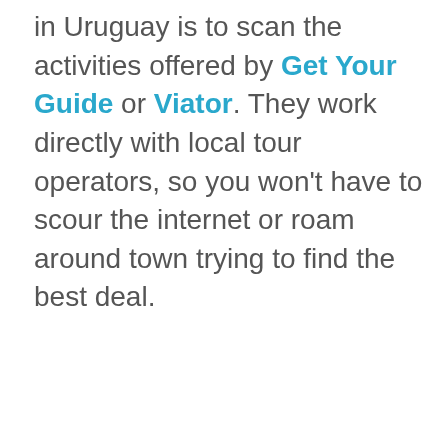in Uruguay is to scan the activities offered by Get Your Guide or Viator. They work directly with local tour operators, so you won't have to scour the internet or roam around town trying to find the best deal.